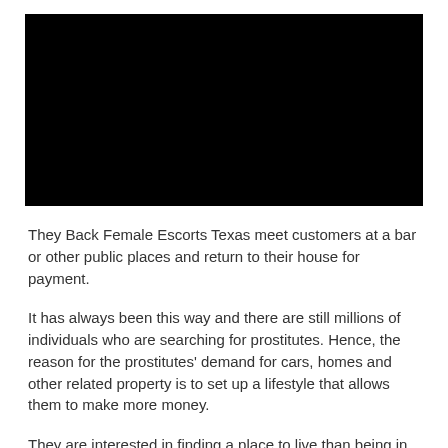[Figure (photo): Black rectangular image placeholder at the top of the page]
They Back Female Escorts Texas meet customers at a bar or other public places and return to their house for payment.
It has always been this way and there are still millions of individuals who are searching for prostitutes. Hence, the reason for the prostitutes' demand for cars, homes and other related property is to set up a lifestyle that allows them to make more money.
They are interested in finding a place to live than being in the sex industry. There are Backpage Escorts Ridgway